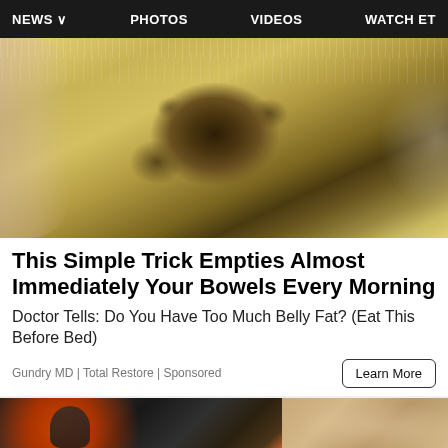NEWS  PHOTOS  VIDEOS  WATCH ET
[Figure (photo): Close-up photo of a yellowish translucent sheet or food item with dark spots/seeds being peeled or lifted, with a sparkly/beaded item visible in the background]
This Simple Trick Empties Almost Immediately Your Bowels Every Morning
Doctor Tells: Do You Have Too Much Belly Fat? (Eat This Before Bed)
Gundry MD | Total Restore | Sponsored
Learn More
[Figure (photo): Two thumbnail images side by side: left shows a dark scene with a figure and orange/red element, right shows a blurry warm-toned image]